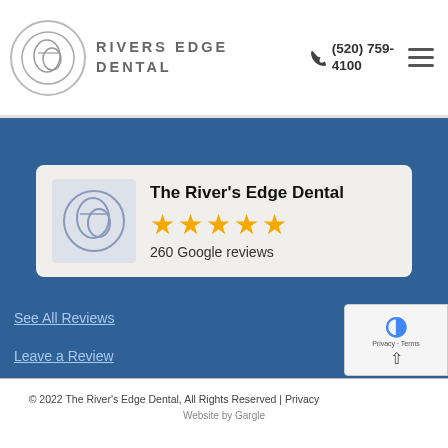RIVERS EDGE DENTAL | (520) 759-4100
[Figure (logo): The River's Edge Dental logo with circular RE monogram, 5 gold stars, and 260 Google reviews]
See All Reviews
Leave a Review
© 2022 The River's Edge Dental, All Rights Reserved | Privacy Policy | Website by Gargle